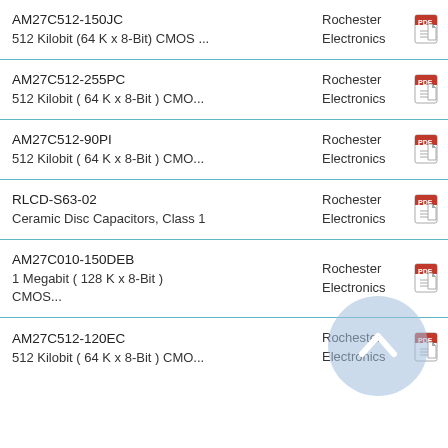AM27C512-150JC
512 Kilobit (64 K x 8-Bit) CMOS ...
Rochester Electronics
1680
AM27C512-255PC
512 Kilobit ( 64 K x 8-Bit ) CMO...
Rochester Electronics
1296
AM27C512-90PI
512 Kilobit ( 64 K x 8-Bit ) CMO...
Rochester Electronics
1080
RLCD-S63-02
Ceramic Disc Capacitors, Class 1
Rochester Electronics
1350
AM27C010-150DEB
1 Megabit ( 128 K x 8-Bit ) CMOS...
Rochester Electronics
1260
AM27C512-120EC
512 Kilobit ( 64 K x 8-Bit ) CMO...
Rochester Electronics
1728